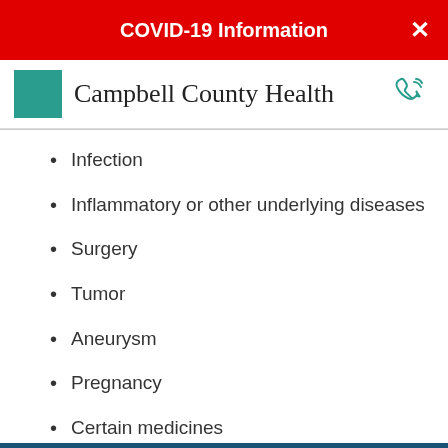COVID-19 Information
Campbell County Health
Infection
Inflammatory or other underlying diseases
Surgery
Tumor
Aneurysm
Pregnancy
Certain medicines